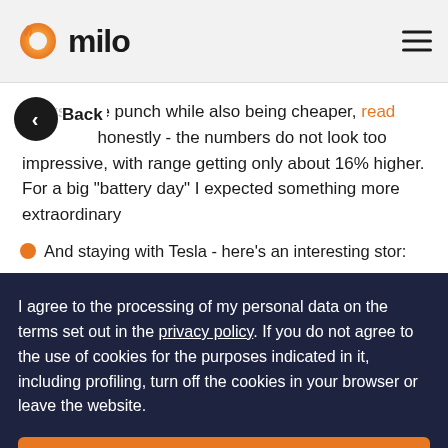milo
packs more punch while also being cheaper, read honestly - the numbers do not look too impressive, with range getting only about 16% higher. For a big "battery day" I expected something more extraordinary
And staying with Tesla - here's an interesting stor:
I agree to the processing of my personal data on the terms set out in the privacy policy. If you do not agree to the use of cookies for the purposes indicated in it, including profiling, turn off the cookies in your browser or leave the website.
Continue